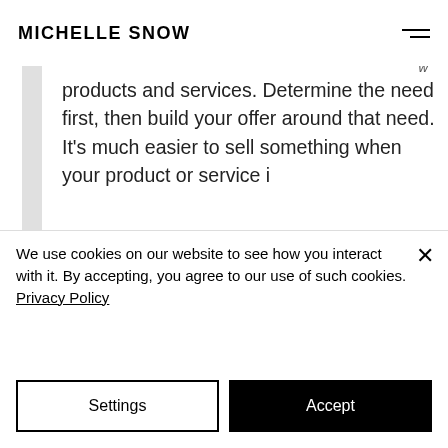MICHELLE SNOW
products and services. Determine the need first, then build your offer around that need. It's much easier to sell something when your product or service i
[Figure (photo): Overhead photo of desk items including sunglasses, a plant, and other accessories on a wooden surface]
We use cookies on our website to see how you interact with it. By accepting, you agree to our use of such cookies. Privacy Policy
Settings
Accept